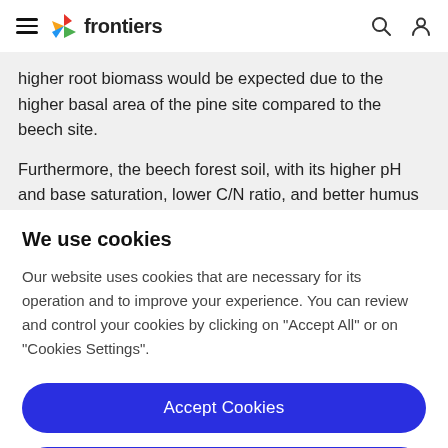frontiers
higher root biomass would be expected due to the higher basal area of the pine site compared to the beech site.
Furthermore, the beech forest soil, with its higher pH and base saturation, lower C/N ratio, and better humus quality
We use cookies
Our website uses cookies that are necessary for its operation and to improve your experience. You can review and control your cookies by clicking on "Accept All" or on "Cookies Settings".
Accept Cookies
Cookies Settings